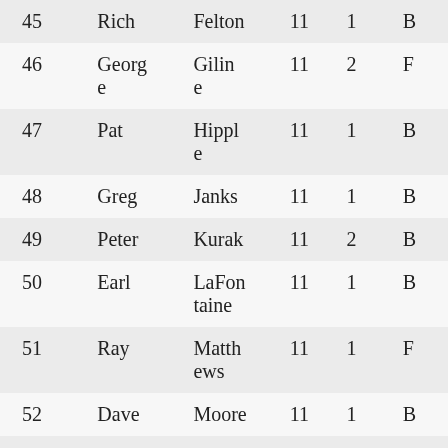| 45 | Rich | Felton | 11 | 1 | B |
| 46 | George | Giline | 11 | 2 | F |
| 47 | Pat | Hipple | 11 | 1 | B |
| 48 | Greg | Janks | 11 | 1 | B |
| 49 | Peter | Kurak | 11 | 2 | B |
| 50 | Earl | LaFontaine | 11 | 1 | B |
| 51 | Ray | Matthews | 11 | 1 | F |
| 52 | Dave | Moore | 11 | 1 | B |
| 53 | Tom | Predh | 11 | 1 | F |